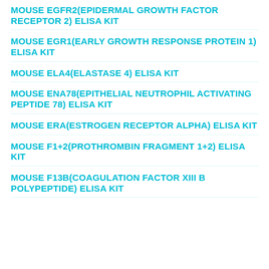MOUSE EGFR2(EPIDERMAL GROWTH FACTOR RECEPTOR 2) ELISA KIT
MOUSE EGR1(EARLY GROWTH RESPONSE PROTEIN 1) ELISA KIT
MOUSE ELA4(ELASTASE 4) ELISA KIT
MOUSE ENA78(EPITHELIAL NEUTROPHIL ACTIVATING PEPTIDE 78) ELISA KIT
MOUSE ERA(ESTROGEN RECEPTOR ALPHA) ELISA KIT
MOUSE F1+2(PROTHROMBIN FRAGMENT 1+2) ELISA KIT
MOUSE F13B(COAGULATION FACTOR XIII B POLYPEPTIDE) ELISA KIT